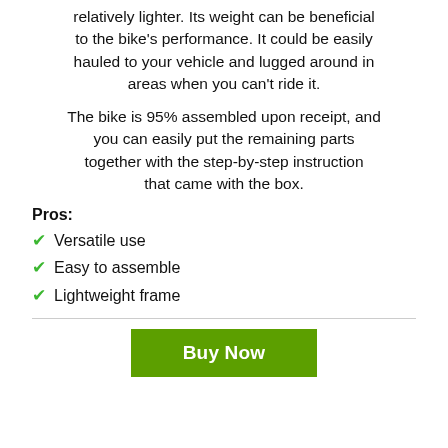relatively lighter. Its weight can be beneficial to the bike’s performance. It could be easily hauled to your vehicle and lugged around in areas when you can’t ride it.
The bike is 95% assembled upon receipt, and you can easily put the remaining parts together with the step-by-step instruction that came with the box.
Pros:
Versatile use
Easy to assemble
Lightweight frame
Buy Now